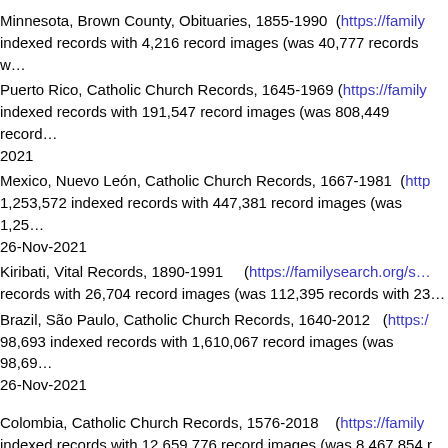Minnesota, Brown County, Obituaries, 1855-1990 (https://family… indexed records with 4,216 record images (was 40,777 records w…
Puerto Rico, Catholic Church Records, 1645-1969 (https://family… indexed records with 191,547 record images (was 808,449 record… 2021
Mexico, Nuevo León, Catholic Church Records, 1667-1981 (http… 1,253,572 indexed records with 447,381 record images (was 1,25… 26-Nov-2021
Kiribati, Vital Records, 1890-1991 (https://familysearch.org/s… records with 26,704 record images (was 112,395 records with 23…
Brazil, São Paulo, Catholic Church Records, 1640-2012 (https:/… 98,693 indexed records with 1,610,067 record images (was 98,69… 26-Nov-2021
Colombia, Catholic Church Records, 1576-2018 (https://family… indexed records with 12,659,776 record images (was 8,467,854 r… Nov-2021
El Salvador Civil Registration, 1704-2001 (https://familysear… indexed records with 1,381,210 record images (was 1,874,201 re… Nov-2021